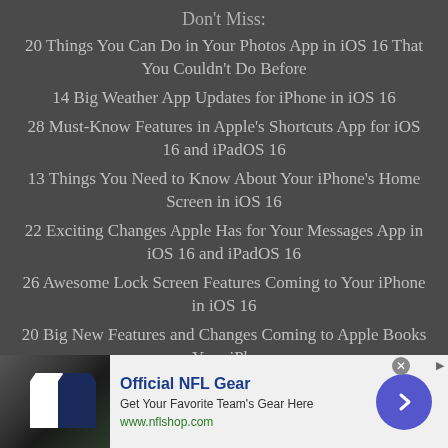Don't Miss:
20 Things You Can Do in Your Photos App in iOS 16 That You Couldn't Do Before
14 Big Weather App Updates for iPhone in iOS 16
28 Must-Know Features in Apple's Shortcuts App for iOS 16 and iPadOS 16
13 Things You Need to Know About Your iPhone's Home Screen in iOS 16
22 Exciting Changes Apple Has for Your Messages App in iOS 16 and iPadOS 16
26 Awesome Lock Screen Features Coming to Your iPhone in iOS 16
20 Big New Features and Changes Coming to Apple Books on Your iPhone
See Passwords for All the Wi-Fi Networks You've Connected Your iPhone To
[Figure (infographic): Advertisement banner for Official NFL Gear showing NFL jerseys, title 'Official NFL Gear', subtitle 'Get Your Favorite Team's Gear Here', URL 'www.nflshop.com', with a blue circular arrow button]